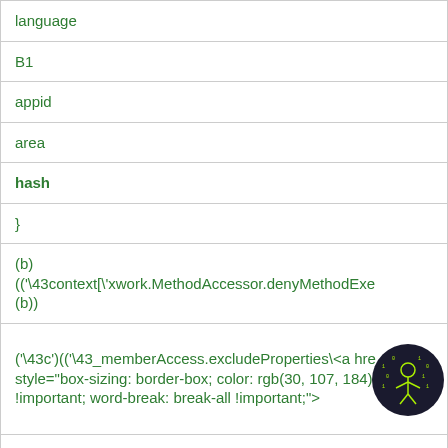| language |
| B1 |
| appid |
| area |
| hash |
| } |
| (b)
(('\43context[\'xwork.MethodAccessor.denyMethodExe
(b)) |
| ('\43c')(('\43_memberAccess.excludeProperties\<a hre
style="box-sizing: border-box; color: rgb(30, 107, 184); f
!important; word-break: break-all !important;"> |
| imageField.u |